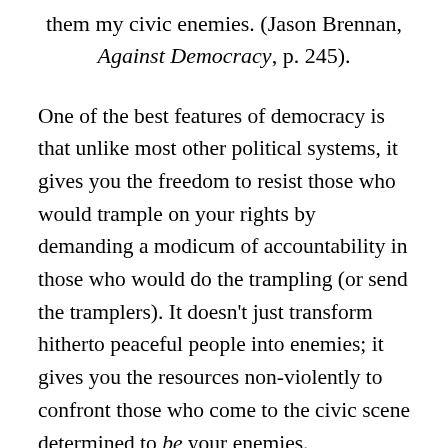them my civic enemies. (Jason Brennan, Against Democracy, p. 245).
One of the best features of democracy is that unlike most other political systems, it gives you the freedom to resist those who would trample on your rights by demanding a modicum of accountability in those who would do the trampling (or send the tramplers). It doesn't just transform hitherto peaceful people into enemies; it gives you the resources non-violently to confront those who come to the civic scene determined to be your enemies. Democracy didn't create Zionist apartheid, or the will to domination that